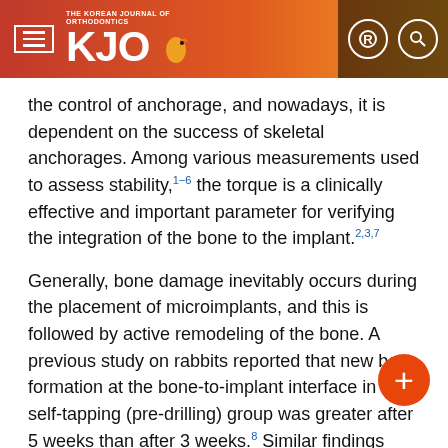THE KOREAN JOURNAL OF ORTHODONTICS — KJO
the control of anchorage, and nowadays, it is dependent on the success of skeletal anchorages. Among various measurements used to assess stability,1–6 the torque is a clinically effective and important parameter for verifying the integration of the bone to the implant.2,3,7
Generally, bone damage inevitably occurs during the placement of microimplants, and this is followed by active remodeling of the bone. A previous study on rabbits reported that new bone formation at the bone-to-implant interface in the self-tapping (pre-drilling) group was greater after 5 weeks than after 3 weeks.8 Similar findings have also been obtained in human studies using the resonance frequency test which reported an increase in the implant stability quotient values on stable miniscrews after 4 weeks.4,9 Moreover, a previous human study evaluating torque changes over time showed a decrease in torques from 8 to 4 N cm after treatment.7
These studies have helped establish a deep understanding